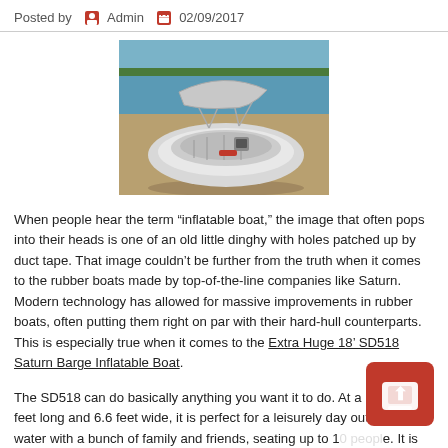Posted by  Admin  02/09/2017
[Figure (photo): A white inflatable boat with a bimini top canopy on a sandy shore near calm water.]
When people hear the term “inflatable boat,” the image that often pops into their heads is one of an old little dinghy with holes patched up by duct tape. That image couldn’t be further from the truth when it comes to the rubber boats made by top-of-the-line companies like Saturn. Modern technology has allowed for massive improvements in rubber boats, often putting them right on par with their hard-hull counterparts. This is especially true when it comes to the Extra Huge 18’ SD518 Saturn Barge Inflatable Boat.
The SD518 can do basically anything you want it to do. At a massive 18 feet long and 6.6 feet wide, it is perfect for a leisurely day out on the water with a bunch of family and friends, seating up to 1[...]. It is also great for any trip that requires you to carry a lot of cargo, as there’s certainly plenty of room for that. Many people use it for fishing,